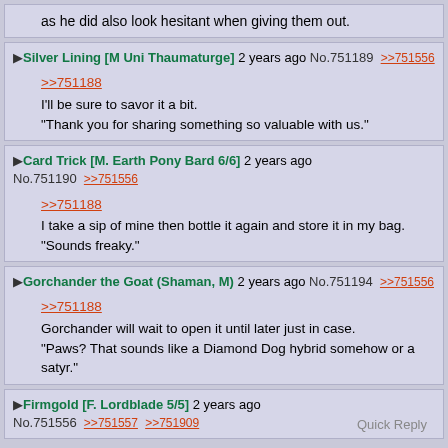You learn that his bottle of gold liquid is different to yours, as he did also look hesitant when giving them out.
Silver Lining [M Uni Thaumaturge] 2 years ago No.751189 >>751556
>>751188
I'll be sure to savor it a bit.
"Thank you for sharing something so valuable with us."
Card Trick [M. Earth Pony Bard 6/6] 2 years ago No.751190 >>751556
>>751188
I take a sip of mine then bottle it again and store it in my bag.
"Sounds freaky."
Gorchander the Goat (Shaman, M) 2 years ago No.751194 >>751556
>>751188
Gorchander will wait to open it until later just in case.
"Paws? That sounds like a Diamond Dog hybrid somehow or a satyr."
Firmgold [F. Lordblade 5/5] 2 years ago No.751556 >>751557 >>751909
Quick Reply